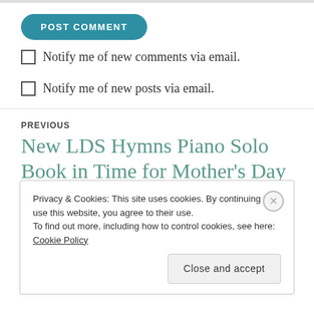[Figure (screenshot): POST COMMENT button — teal/blue rounded rectangle button with white uppercase bold text]
Notify me of new comments via email.
Notify me of new posts via email.
PREVIOUS
New LDS Hymns Piano Solo Book in Time for Mother's Day
Privacy & Cookies: This site uses cookies. By continuing to use this website, you agree to their use.
To find out more, including how to control cookies, see here: Cookie Policy
Close and accept